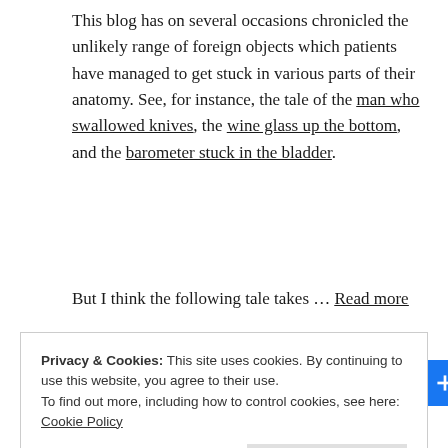This blog has on several occasions chronicled the unlikely range of foreign objects which patients have managed to get stuck in various parts of their anatomy. See, for instance, the tale of the man who swallowed knives, the wine glass up the bottom, and the barometer stuck in the bladder.
But I think the following tale takes … Read more
[Figure (other): Social sharing icons: Facebook, Twitter, Reddit, Pinterest, LinkedIn, Digg, Email, Share]
Privacy & Cookies: This site uses cookies. By continuing to use this website, you agree to their use. To find out more, including how to control cookies, see here: Cookie Policy
Close and accept